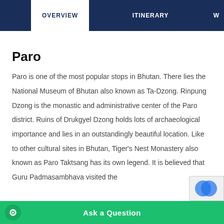OVERVIEW | ITINERARY | W
Paro
Paro is one of the most popular stops in Bhutan. There lies the National Museum of Bhutan also known as Ta-Dzong. Rinpung Dzong is the monastic and administrative center of the Paro district. Ruins of Drukgyel Dzong holds lots of archaeological importance and lies in an outstandingly beautiful location. Like to other cultural sites in Bhutan, Tiger's Nest Monastery also known as Paro Taktsang has its own legend. It is believed that Guru Padmasambhava visited the of a tigress. He came from Tibet to Bhutan introducing
Ask a Question